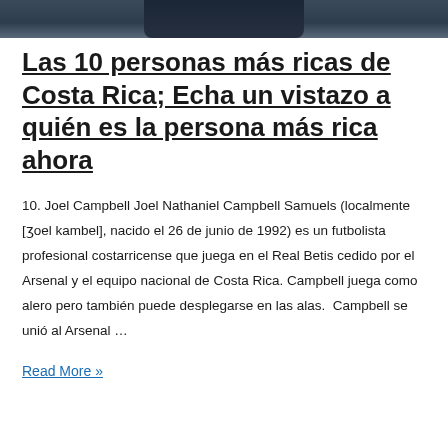[Figure (photo): Bottom portion of a person wearing a dark navy suit with a dark red/burgundy tie, photographed outdoors with a blurred green background.]
Las 10 personas más ricas de Costa Rica; Echa un vistazo a quién es la persona más rica ahora
10. Joel Campbell Joel Nathaniel Campbell Samuels (localmente [ʒoel kambel], nacido el 26 de junio de 1992) es un futbolista profesional costarricense que juega en el Real Betis cedido por el Arsenal y el equipo nacional de Costa Rica. Campbell juega como alero pero también puede desplegarse en las alas.  Campbell se unió al Arsenal …
Read More »